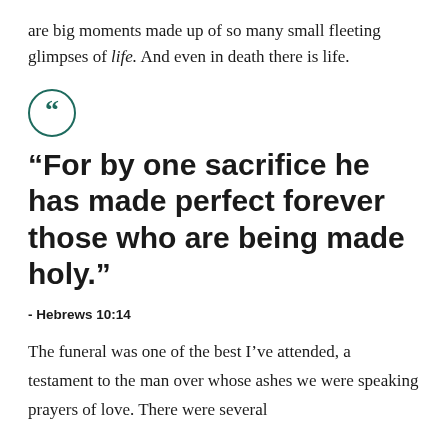are big moments made up of so many small fleeting glimpses of life. And even in death there is life.
[Figure (illustration): A teal/dark green circle with an open double quotation mark (“) inside it, serving as a decorative quote icon.]
“For by one sacrifice he has made perfect forever those who are being made holy.”
- Hebrews 10:14
The funeral was one of the best I’ve attended, a testament to the man over whose ashes we were speaking prayers of love. There were several